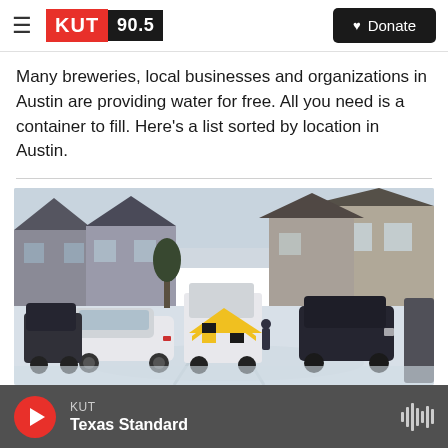KUT 90.5 | Donate
Many breweries, local businesses and organizations in Austin are providing water for free. All you need is a container to fill. Here's a list sorted by location in Austin.
[Figure (photo): Snow-covered residential street in Austin with cars parked on both sides, an emergency vehicle with yellow chevron markings visible in the middle of the street, and suburban houses with dark roofs in the background under a grey winter sky.]
KUT | Texas Standard